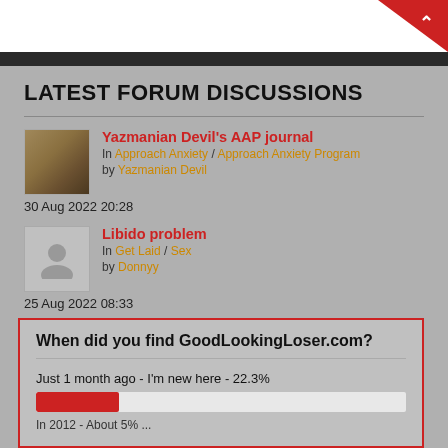LATEST FORUM DISCUSSIONS
Yazmanian Devil's AAP journal - In Approach Anxiety / Approach Anxiety Program - by Yazmanian Devil - 30 Aug 2022 20:28
Libido problem - In Get Laid / Sex - by Donnyy - 25 Aug 2022 08:33
When did you find GoodLookingLoser.com?
Just 1 month ago - I'm new here - 22.3%